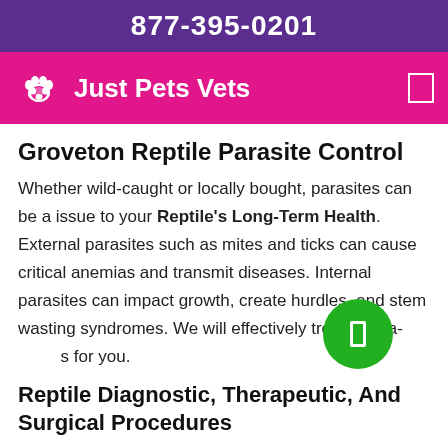877-395-0201
[Figure (logo): Just Pets Vets logo with paw print icon on pink/magenta navigation bar]
Groveton Reptile Parasite Control
Whether wild-caught or locally bought, parasites can be a issue to your Reptile's Long-Term Health. External parasites such as mites and ticks can cause critical anemias and transmit diseases. Internal parasites can impact growth, create hurdles, and stem wasting syndromes. We will effectively treat the parasites for you.
Reptile Diagnostic, Therapeutic, And Surgical Procedures
Occasionally more complex treatment procedures may be